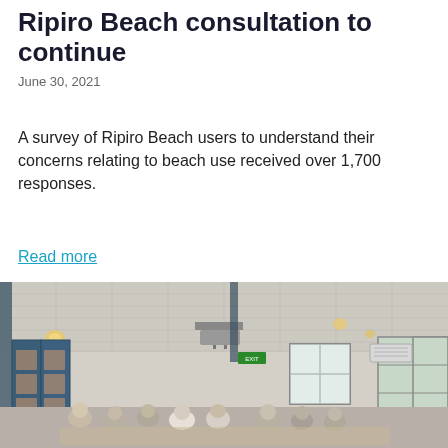Ripiro Beach consultation to continue
June 30, 2021
A survey of Ripiro Beach users to understand their concerns relating to beach use received over 1,700 responses.
Read more
[Figure (photo): Indoor meeting room or community hall with people seated at tables. The room has a suspended ceiling with recessed lighting, a projector hanging from the ceiling, blue double doors on the left, windows at the back, and what appears to be an air conditioning unit. Participants appear to be attending a community consultation meeting.]